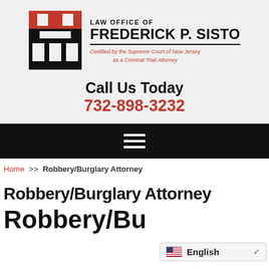[Figure (logo): Law Office of Frederick P. Sisto logo with red and black stylized S letterform]
LAW OFFICE OF
FREDERICK P. SISTO
Certified by the Supreme Court of New Jersey as a Criminal Trial Attorney
Call Us Today
732-898-3232
[Figure (other): Black navigation bar with hamburger menu icon]
Home >> Robbery/Burglary Attorney
Robbery/Burglary Attorney
Robbery/Bu...
English